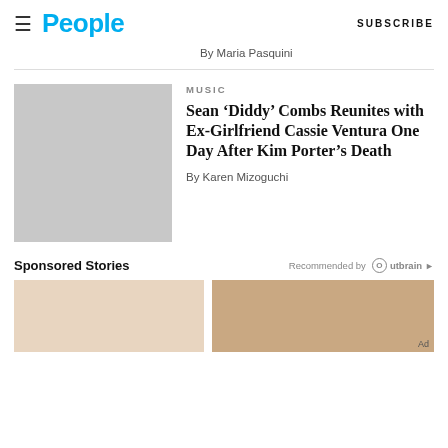People | SUBSCRIBE
By Maria Pasquini
MUSIC
Sean ‘Diddy’ Combs Reunites with Ex-Girlfriend Cassie Ventura One Day After Kim Porter’s Death
By Karen Mizoguchi
Sponsored Stories
Recommended by Outbrain
[Figure (photo): Placeholder thumbnail image (gray rectangle) for article about Sean Diddy Combs]
[Figure (photo): Two sponsored story images at the bottom of the page]